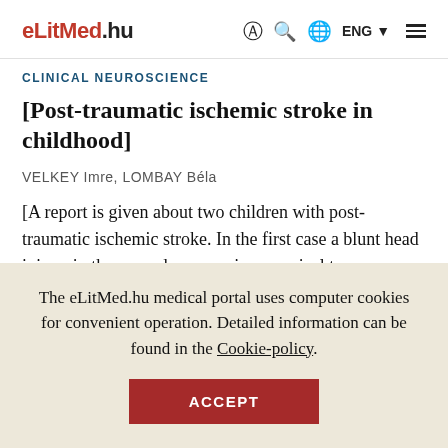eLitMed.hu | ENG
CLINICAL NEUROSCIENCE
[Post-traumatic ischemic stroke in childhood]
VELKEY Imre, LOMBAY Béla
[A report is given about two children with post-traumatic ischemic stroke. In the first case a blunt head injury, in the second case a minor cervical trauma caused
The eLitMed.hu medical portal uses computer cookies for convenient operation. Detailed information can be found in the Cookie-policy.